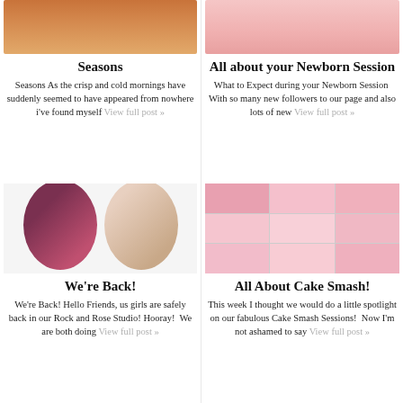[Figure (photo): Autumn outdoor family photo with orange/red leaves on ground]
Seasons
Seasons As the crisp and cold mornings have suddenly seemed to have appeared from nowhere i've found myself View full post »
[Figure (photo): Baby on pink fluffy blanket — newborn session photo]
All about your Newborn Session
What to Expect during your Newborn Session  With so many new followers to our page and also lots of new View full post »
[Figure (photo): Two women wearing face masks — oval portrait photos side by side]
We're Back!
We're Back! Hello Friends, us girls are safely back in our Rock and Rose Studio! Hooray!  We are both doing View full post »
[Figure (photo): 3x3 grid of pink cake smash session baby photos]
All About Cake Smash!
This week I thought we would do a little spotlight on our fabulous Cake Smash Sessions!  Now I'm not ashamed to say View full post »